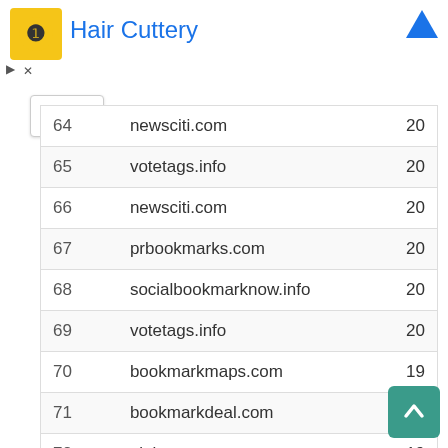Hair Cuttery
| # | Domain | Value |
| --- | --- | --- |
| 64 | newsciti.com | 20 |
| 65 | votetags.info | 20 |
| 66 | newsciti.com | 20 |
| 67 | prbookmarks.com | 20 |
| 68 | socialbookmarknow.info | 20 |
| 69 | votetags.info | 20 |
| 70 | bookmarkmaps.com | 19 |
| 71 | bookmarkdeal.com | 19 |
| 72 | pipinews.com | 19 |
| 73 | a2zbookmarking.com | 19 |
| 74 | bookmarkcart.com | 19 |